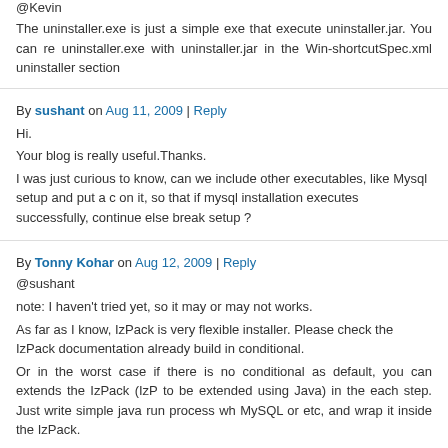@Kevin
The uninstaller.exe is just a simple exe that execute uninstaller.jar. You can replace uninstaller.exe with uninstaller.jar in the Win-shortcutSpec.xml uninstaller section
By sushant on Aug 11, 2009 | Reply
Hi.
Your blog is really useful.Thanks.
I was just curious to know, can we include other executables, like Mysql setup and put a condition on it, so that if mysql installation executes successfully, continue else break setup ?
By Tonny Kohar on Aug 12, 2009 | Reply
@sushant
note: I haven't tried yet, so it may or may not works.
As far as I know, IzPack is very flexible installer. Please check the IzPack documentation, already build in conditional.
Or in the worst case if there is no conditional as default, you can extends the IzPack (IzPack is designed to be extended using Java) in the each step. Just write simple java run process which invoke MySQL or etc, and wrap it inside the IzPack.
By pawloch on Sep 14, 2009 | Reply
is there a way of creating updates with izpack ?